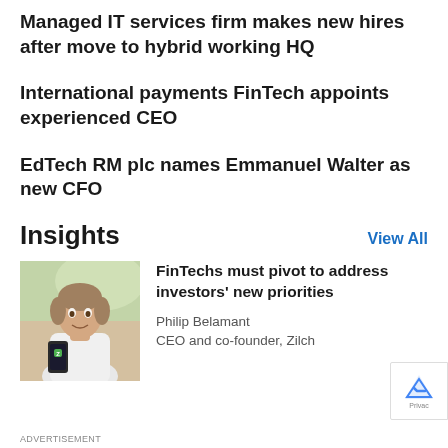Managed IT services firm makes new hires after move to hybrid working HQ
International payments FinTech appoints experienced CEO
EdTech RM plc names Emmanuel Walter as new CFO
Insights
View All
[Figure (photo): Man in white t-shirt holding a phone with a green icon]
FinTechs must pivot to address investors' new priorities
Philip Belamant
CEO and co-founder, Zilch
ADVERTISEMENT